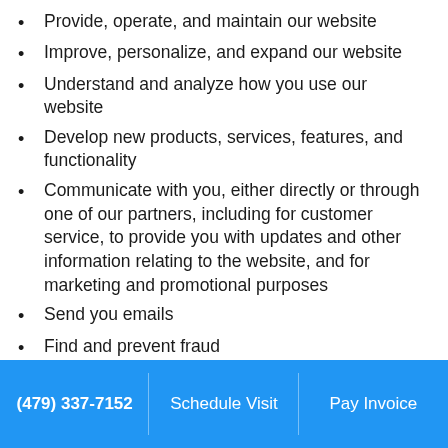Provide, operate, and maintain our website
Improve, personalize, and expand our website
Understand and analyze how you use our website
Develop new products, services, features, and functionality
Communicate with you, either directly or through one of our partners, including for customer service, to provide you with updates and other information relating to the website, and for marketing and promotional purposes
Send you emails
Find and prevent fraud
Share aggregated demographic information with our partners. This is not linked to any personal information that can identify any individual
(479) 337-7152   Schedule Visit   Pay Invoice